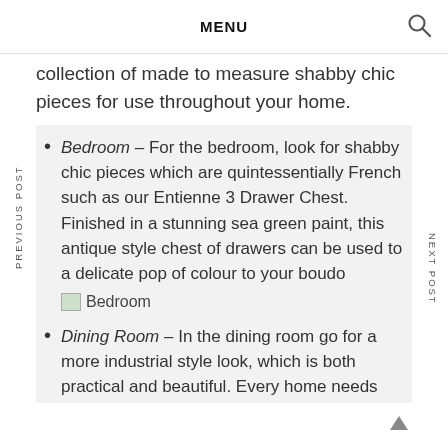MENU
collection of made to measure shabby chic pieces for use throughout your home.
Bedroom – For the bedroom, look for shabby chic pieces which are quintessentially French such as our Entienne 3 Drawer Chest. Finished in a stunning sea green paint, this antique style chest of drawers can be used to a delicate pop of colour to your boudo [Bedroom image]
Dining Room – In the dining room go for a more industrial style look, which is both practical and beautiful. Every home needs